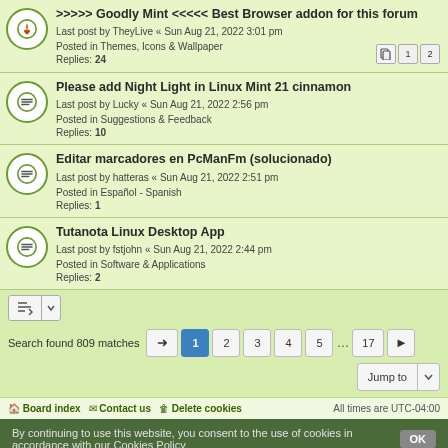>>>>> Goodly Mint <<<<< Best Browser addon for this forum
Last post by TheyLive « Sun Aug 21, 2022 3:01 pm
Posted in Themes, Icons & Wallpaper
Replies: 24
Please add Night Light in Linux Mint 21 cinnamon
Last post by Lucky « Sun Aug 21, 2022 2:56 pm
Posted in Suggestions & Feedback
Replies: 10
Editar marcadores en PcManFm (solucionado)
Last post by hatteras « Sun Aug 21, 2022 2:51 pm
Posted in Español - Spanish
Replies: 1
Tutanota Linux Desktop App
Last post by fstjohn « Sun Aug 21, 2022 2:44 pm
Posted in Software & Applications
Replies: 2
Search found 809 matches
Board index   Contact us   Delete cookies   All times are UTC-04:00
By continuing to use this website, you consent to the use of cookies in accordance with our Cookies Policy